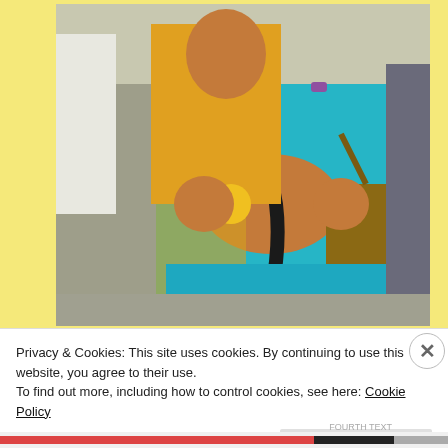[Figure (photo): A woman in a teal/turquoise saree seen from behind, carrying a young child dressed in yellow. The woman has a long dark braid and is carrying a brown handbag. A decorative brooch is visible at her waist. Other people are visible in the background.]
Privacy & Cookies: This site uses cookies. By continuing to use this website, you agree to their use.
To find out more, including how to control cookies, see here: Cookie Policy
Close and accept